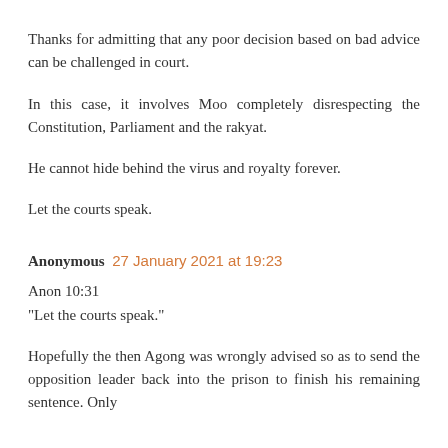Thanks for admitting that any poor decision based on bad advice can be challenged in court.
In this case, it involves Moo completely disrespecting the Constitution, Parliament and the rakyat.
He cannot hide behind the virus and royalty forever.
Let the courts speak.
Anonymous 27 January 2021 at 19:23
Anon 10:31
"Let the courts speak."
Hopefully the then Agong was wrongly advised so as to send the opposition leader back into the prison to finish his remaining sentence. Only